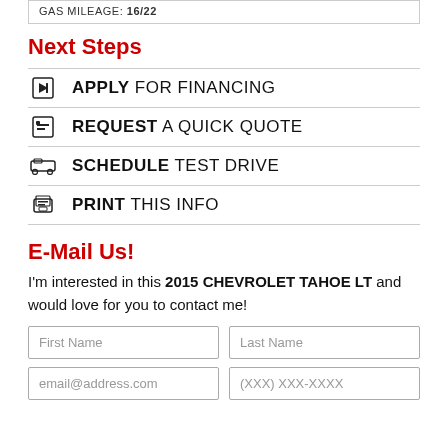GAS MILEAGE: 16/22
Next Steps
APPLY FOR FINANCING
REQUEST A QUICK QUOTE
SCHEDULE TEST DRIVE
PRINT THIS INFO
E-Mail Us!
I'm interested in this 2015 CHEVROLET TAHOE LT and would love for you to contact me!
First Name | Last Name | email@address.com | (XXX) XXX-XXXX